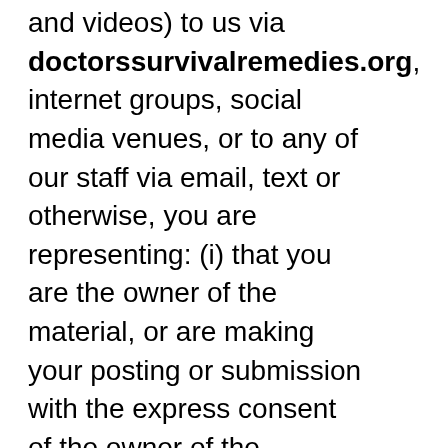and videos) to us via doctorssurvivalremedies.org, internet groups, social media venues, or to any of our staff via email, text or otherwise, you are representing: (i) that you are the owner of the material, or are making your posting or submission with the express consent of the owner of the material; and (ii) that you are thirteen years of age or older. In addition, when you submit, email, text or deliver or post